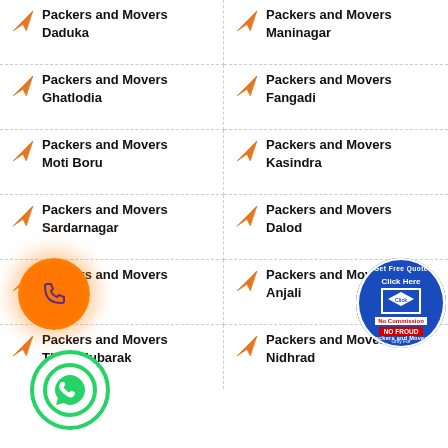Packers and Movers Daduka
Packers and Movers Maninagar
Packers and Movers Ghatlodia
Packers and Movers Fangadi
Packers and Movers Moti Boru
Packers and Movers Kasindra
Packers and Movers Sardarnagar
Packers and Movers Dalod
Packers and Movers Vatva
Packers and Movers Anjali
Packers and Movers Thori Mubarak
Packers and Movers Nidhrad